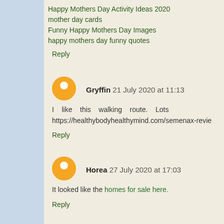Happy Mothers Day Activity Ideas 2020
mother day cards
Funny Happy Mothers Day Images
happy mothers day funny quotes
Reply
Gryffin 21 July 2020 at 11:13
I like this walking route. Lots https://healthybodyhealthymind.com/semenax-revie
Reply
Horea 27 July 2020 at 17:03
It looked like the homes for sale here.
Reply
tike mik 20 September 2020 at 08:09
Here, Awoyinfa discloses that the development of th